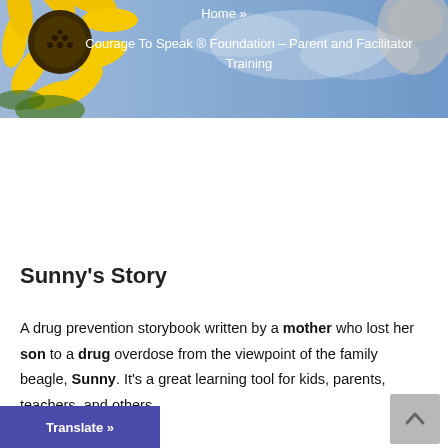Home »
Courage To Speak ® Foundation – Parent and Facilitator Training
Sunny's Story
A drug prevention storybook written by a mother who lost her son to a drug overdose from the viewpoint of the family beagle, Sunny. It's a great learning tool for kids, parents, teachers, and others.